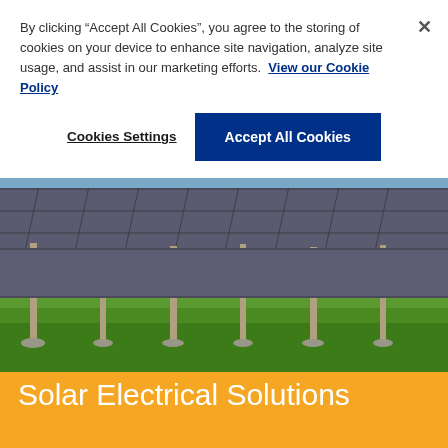By clicking “Accept All Cookies”, you agree to the storing of cookies on your device to enhance site navigation, analyze site usage, and assist in our marketing efforts. View our Cookie Policy
Cookies Settings
Accept All Cookies
[Figure (photo): Aerial view from below of large solar panel arrays mounted on metal poles over a green grass field, with a blue sky visible in the background.]
Solar Electrical Solutions